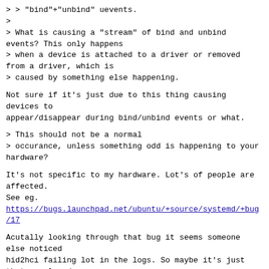> > "bind"+"unbind" uevents.
>
> What is causing a "stream" of bind and unbind events? This only happens
> when a device is attached to a driver or removed from a driver, which is
> caused by something else happening.
Not sure if it's just due to this thing causing devices to
appear/disappear during bind/unbind events or what.
> This should not be a normal
> occurance, unless something odd is happening to your hardware?
It's not specific to my hardware. Lot's of people are affected.
See eg.
https://bugs.launchpad.net/ubuntu/+source/systemd/+bug/1...
Acutally looking through that bug it seems someone else noticed
hid2hci failing lot in the logs. So maybe it's just that we already
switched the mode during "add", and then we try to redo the same
thing during "bind" which fails, and that then causes and unbind?
Dunno, udev is beyond me.